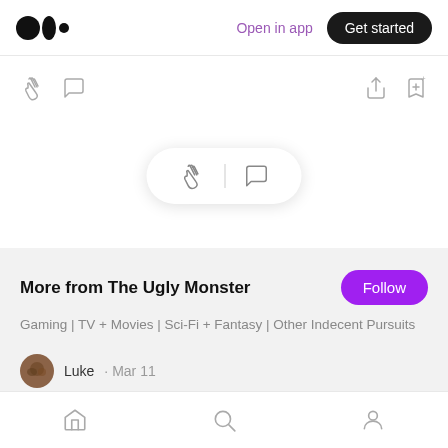Medium logo | Open in app | Get started
[Figure (screenshot): Action bar with clap and comment icons on the left, share and bookmark icons on the right]
[Figure (screenshot): Floating pill with clap icon, divider, and comment icon]
More from The Ugly Monster
Gaming | TV + Movies | Sci-Fi + Fantasy | Other Indecent Pursuits
Luke · Mar 11
Home | Search | Profile navigation icons